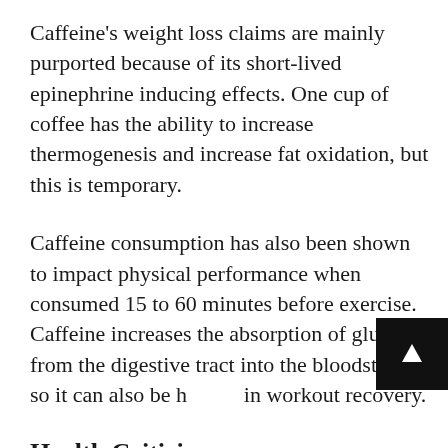Caffeine's weight loss claims are mainly purported because of its short-lived epinephrine inducing effects. One cup of coffee has the ability to increase thermogenesis and increase fat oxidation, but this is temporary.
Caffeine consumption has also been shown to impact physical performance when consumed 15 to 60 minutes before exercise. Caffeine increases the absorption of glucose from the digestive tract into the bloodstream, so it can also be helpful in workout recovery.
Health Criticisms